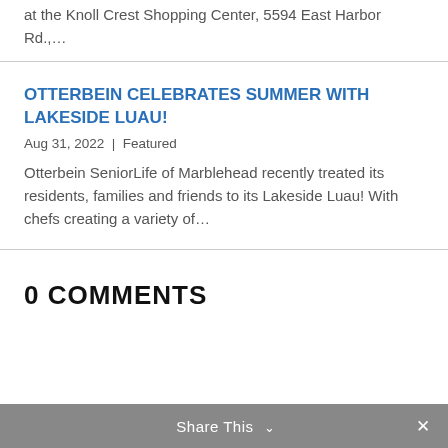at the Knoll Crest Shopping Center, 5594 East Harbor Rd.,…
Otterbein celebrates summer with Lakeside Luau!
Aug 31, 2022 | Featured
Otterbein SeniorLife of Marblehead recently treated its residents, families and friends to its Lakeside Luau! With chefs creating a variety of…
0 Comments
Share This ∨  ✕